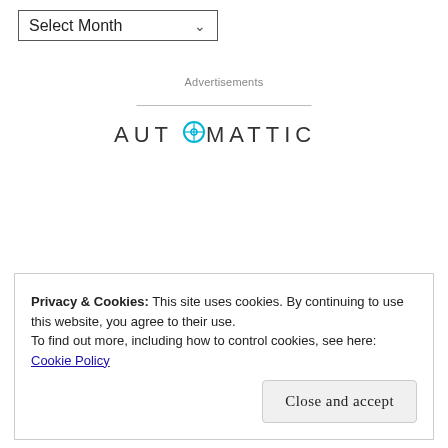[Figure (other): Select Month dropdown widget]
Advertisements
[Figure (logo): Automattic logo with circular O icon]
Build a better web
Privacy & Cookies: This site uses cookies. By continuing to use this website, you agree to their use.
To find out more, including how to control cookies, see here:
Cookie Policy
Close and accept